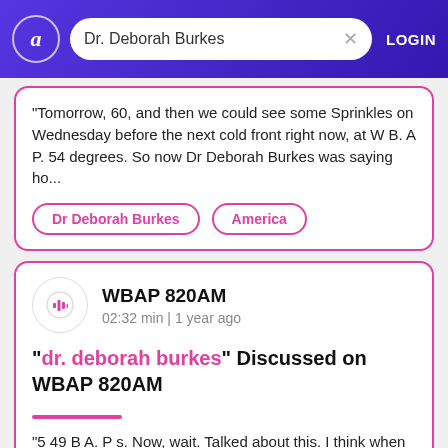Dr. Deborah Burkes | LOGIN
"Tomorrow, 60, and then we could see some Sprinkles on Wednesday before the next cold front right now, at W B. A P. 54 degrees. So now Dr Deborah Burkes was saying ho...
Dr Deborah Burkes
America
WBAP 820AM
02:32 min | 1 year ago
"dr. deborah burkes" Discussed on WBAP 820AM
"5 49 B A. P s. Now, wait. Talked about this. I think when Robert Gates left office, Okay, as our you know, as this